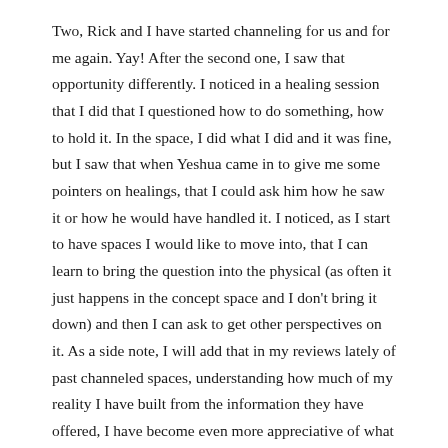Two, Rick and I have started channeling for us and for me again. Yay! After the second one, I saw that opportunity differently. I noticed in a healing session that I did that I questioned how to do something, how to hold it. In the space, I did what I did and it was fine, but I saw that when Yeshua came in to give me some pointers on healings, that I could ask him how he saw it or how he would have handled it. I noticed, as I start to have spaces I would like to move into, that I can learn to bring the question into the physical (as often it just happens in the concept space and I don't bring it down) and then I can ask to get other perspectives on it. As a side note, I will add that in my reviews lately of past channeled spaces, understanding how much of my reality I have built from the information they have offered, I have become even more appreciative of what I have.